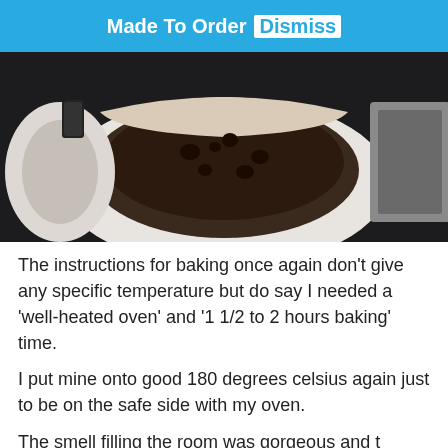Made To Order Dismiss
[Figure (photo): Overhead photo of a baked item in a white bowl or baking dish lined with brown paper, showing a dark baked good with chocolate chips or fruit, placed on a dark surface with a baking tray visible to the right.]
The instructions for baking once again don't give any specific temperature but do say I needed a 'well-heated oven' and '1 1/2 to 2 hours baking' time.
I put mine onto good 180 degrees celsius again just to be on the safe side with my oven.
The smell filling the room was gorgeous and the rose a bit, maybe 6 inches brown paper lining was a